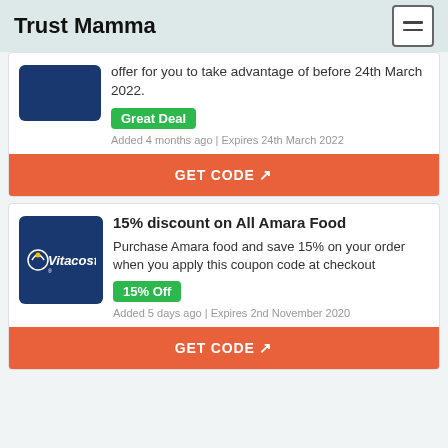Trust Mamma
offer for you to take advantage of before 24th March 2022.
Great Deal
Added 4 months ago | Expires 24th March 2022
GET CODE
15% discount on All Amara Food
Purchase Amara food and save 15% on your order when you apply this coupon code at checkout
15% Off
Added 5 days ago | Expires 2nd November 2020
GET CODE